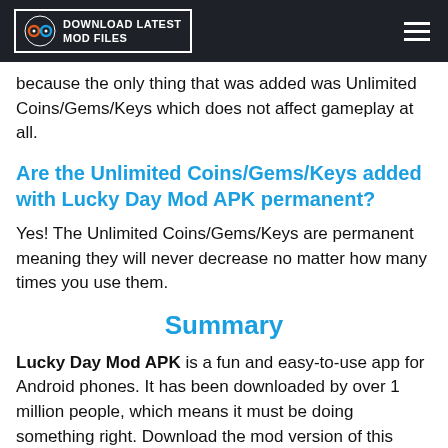DOWNLOAD LATEST MOD FILES
because the only thing that was added was Unlimited Coins/Gems/Keys which does not affect gameplay at all.
Are the Unlimited Coins/Gems/Keys added with Lucky Day Mod APK permanent?
Yes! The Unlimited Coins/Gems/Keys are permanent meaning they will never decrease no matter how many times you use them.
Summary
Lucky Day Mod APK is a fun and easy-to-use app for Android phones. It has been downloaded by over 1 million people, which means it must be doing something right. Download the mod version of this